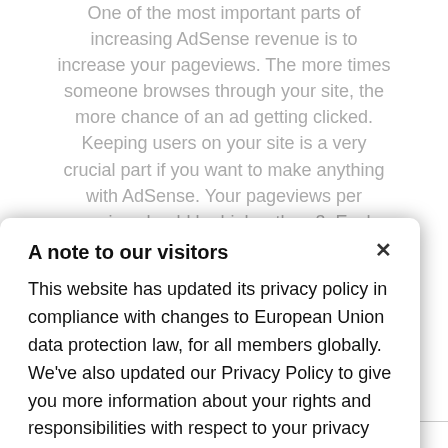One of the most important parts of increasing AdSense revenue is to increase your pageviews. The more times someone browses through your site, the more chance of an ad getting clicked. Keeping users on your site is a very crucial part if you want to make anything with AdSense. Your pageviews per session should be higher than 3. Each extra pageview you get increases your chances of more revenue so have a strategy in getting people to your site will provide better results.
A note to our visitors
This website has updated its privacy policy in compliance with changes to European Union data protection law, for all members globally. We've also updated our Privacy Policy to give you more information about your rights and responsibilities with respect to your privacy and personal information. Please read this to review the updates about which cookies we use and what information we collect on our site. By continuing to use this site, you are agreeing to our updated privacy policy.
Advertising Management System
I agree
AMS system I used. I wouldn't have been able to make the amount of money I did. Having a place to see each Facebook ad campaign and correlating AdSense pages, campaign is the only way you make this work properly and do OK, but if you want to be very successful, you must use an advertising management system.